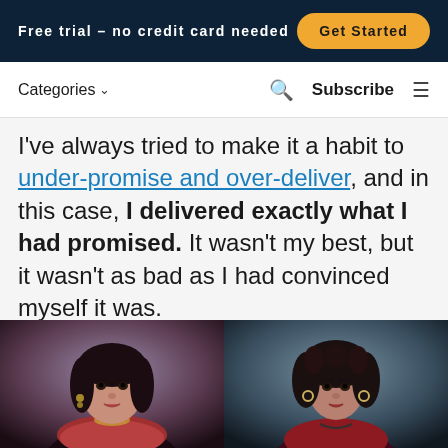Free trial – no credit card needed   Get Started
Categories ∨   🔍   Subscribe   ≡
I've always tried to make it a habit to under-promise and over-deliver, and in this case, I delivered exactly what I had promised. It wasn't my best, but it wasn't as bad as I had convinced myself it was.
[Figure (photo): Two portrait photos side by side: left shows a woman with dark hair wearing a red scarf and jewelry, right shows a woman with curly dark hair wearing a red top, both against a textured background.]